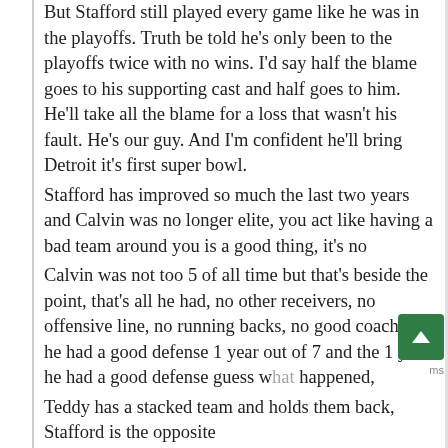But Stafford still played every game like he was in the playoffs. Truth be told he's only been to the playoffs twice with no wins. I'd say half the blame goes to his supporting cast and half goes to him. He'll take all the blame for a loss that wasn't his fault. He's our guy. And I'm confident he'll bring Detroit it's first super bowl.
Stafford has improved so much the last two years and Calvin was no longer elite, you act like having a bad team around you is a good thing, it's no
Calvin was not too 5 of all time but that's beside the point, that's all he had, no other receivers, no offensive line, no running backs, no good coaches, he had a good defense 1 year out of 7 and the 1 year he had a good defense guess what happened,
Teddy has a stacked team and holds them back, Stafford is the opposite